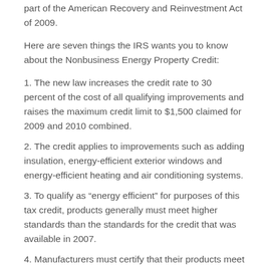part of the American Recovery and Reinvestment Act of 2009.
Here are seven things the IRS wants you to know about the Nonbusiness Energy Property Credit:
1. The new law increases the credit rate to 30 percent of the cost of all qualifying improvements and raises the maximum credit limit to $1,500 claimed for 2009 and 2010 combined.
2. The credit applies to improvements such as adding insulation, energy-efficient exterior windows and energy-efficient heating and air conditioning systems.
3. To qualify as “energy efficient” for purposes of this tax credit, products generally must meet higher standards than the standards for the credit that was available in 2007.
4. Manufacturers must certify that their products meet new standards and they must provide a written